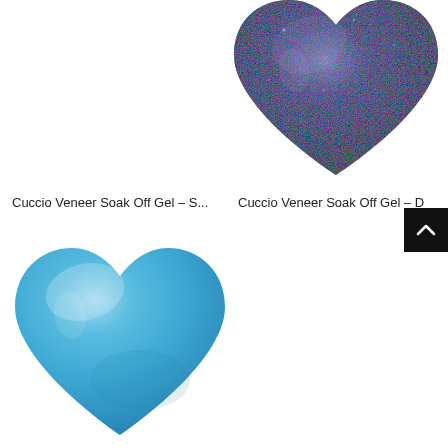[Figure (photo): Dark navy blue glittery heart-shaped nail gel swatch, partially cut off at top-right of page]
Cuccio Veneer Soak Off Gel – S...
Cuccio Veneer Soak Off Gel – D
[Figure (photo): Light blue smooth heart-shaped nail gel swatch in lower-left of page]